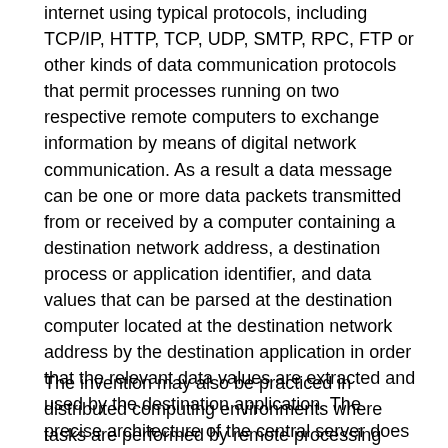internet using typical protocols, including TCP/IP, HTTP, TCP, UDP, SMTP, RPC, FTP or other kinds of data communication protocols that permit processes running on two respective remote computers to exchange information by means of digital network communication. As a result a data message can be one or more data packets transmitted from or received by a computer containing a destination network address, a destination process or application identifier, and data values that can be parsed at the destination computer located at the destination network address by the destination application in order that the relevant data values are extracted and used by the destination application. The precise architecture of the central server does not limit the claimed invention. In addition, the data network may operate with several levels, such that the user's computer is connected through a fire wall to one server, which routes communications to another server that executes the disclosed methods.
The invention may also be practiced in distributed computing environments where tasks are performed by remote processing devices that are linked through a